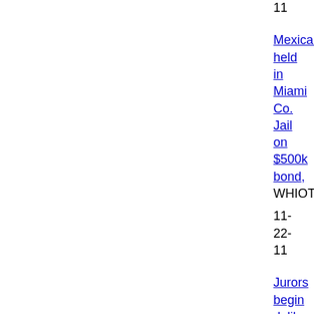11
Mexican held in Miami Co. Jail on $500k bond, WHIOTV.co
11-22-11
Jurors begin deliberations in Mexican Mafia capital murder case,